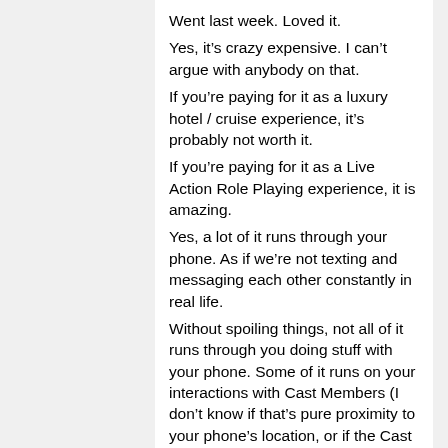Went last week. Loved it.
Yes, it's crazy expensive. I can't argue with anybody on that.
If you're paying for it as a luxury hotel / cruise experience, it's probably not worth it.
If you're paying for it as a Live Action Role Playing experience, it is amazing.
Yes, a lot of it runs through your phone. As if we're not texting and messaging each other constantly in real life.
Without spoiling things, not all of it runs through you doing stuff with your phone. Some of it runs on your interactions with Cast Members (I don't know if that's pure proximity to your phone's location, or if the Cast Members do a bunch of data entry “backstage”) Some of it is Cast Members interacting with you IRL.
If you don't want to do a Star Wars Cosplay...